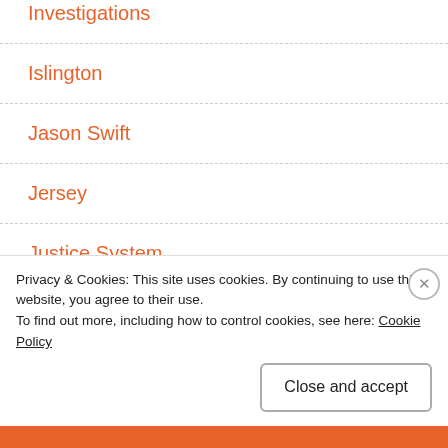Investigations
Islington
Jason Swift
Jersey
Justice System
Keith Vaz
Lambeth
Leicester
Privacy & Cookies: This site uses cookies. By continuing to use this website, you agree to their use.
To find out more, including how to control cookies, see here: Cookie Policy
Close and accept